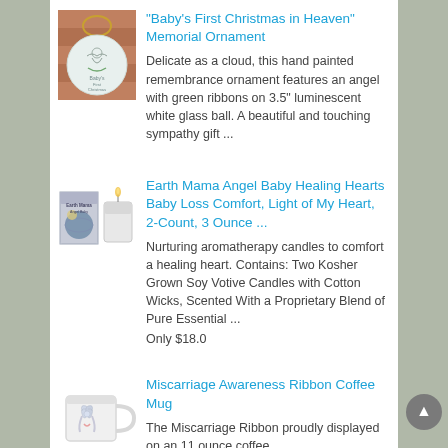[Figure (photo): Photo of a white glass ornament ball with angel and green ribbon design, hanging on a Christmas tree branch]
"Baby's First Christmas in Heaven" Memorial Ornament
Delicate as a cloud, this hand painted remembrance ornament features an angel with green ribbons on 3.5" luminescent white glass ball. A beautiful and touching sympathy gift ...
[Figure (photo): Photo of Earth Mama Angel Baby Healing Hearts product: a box and a white frosted glass votive candle]
Earth Mama Angel Baby Healing Hearts Baby Loss Comfort, Light of My Heart, 2-Count, 3 Ounce ...
Nurturing aromatherapy candles to comfort a healing heart. Contains: Two Kosher Grown Soy Votive Candles with Cotton Wicks, Scented With a Proprietary Blend of Pure Essential ...
Only $18.0
[Figure (photo): Photo of a white coffee mug with a miscarriage awareness ribbon design]
Miscarriage Awareness Ribbon Coffee Mug
The Miscarriage Ribbon proudly displayed on an 11 ounce coffee